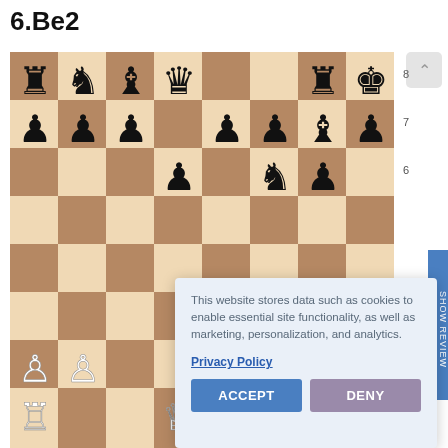6.Be2
[Figure (screenshot): Chess board showing a game position with black pieces (rook, knight, bishop, queen, rook, king, pawns) and white pieces (pawns, rook) arranged mid-game. Row labels 6, 7, 8 visible on right side.]
This website stores data such as cookies to enable essential site functionality, as well as marketing, personalization, and analytics.
Privacy Policy
ACCEPT
DENY